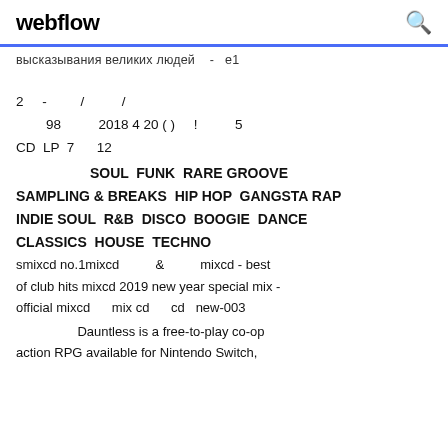webflow
высказывания великих людей  -  е1
2    -         /          /
        98          2018  4  20  ( )     !           5
CD  LP  7      12
SOUL  FUNK  RARE GROOVE
SAMPLING & BREAKS  HIP HOP  GANGSTA RAP
INDIE SOUL  R&B  DISCO  BOOGIE  DANCE
CLASSICS  HOUSE  TECHNO
smixcd no.1mixcd          &          mixcd - best of club hits mixcd 2019 new year special mix - official mixcd      mix cd      cd  new-003
Dauntless is a free-to-play co-op action RPG available for Nintendo Switch,